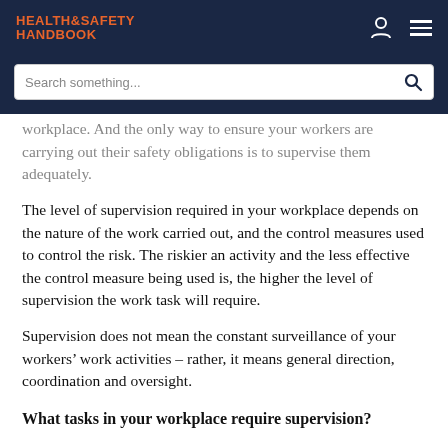HEALTH&SAFETY HANDBOOK
workplace. And the only way to ensure your workers are carrying out their safety obligations is to supervise them adequately.
The level of supervision required in your workplace depends on the nature of the work carried out, and the control measures used to control the risk. The riskier an activity and the less effective the control measure being used is, the higher the level of supervision the work task will require.
Supervision does not mean the constant surveillance of your workers’ work activities – rather, it means general direction, coordination and oversight.
What tasks in your workplace require supervision?